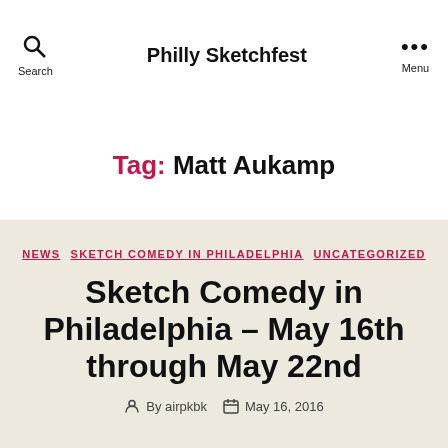Philly Sketchfest
Tag: Matt Aukamp
NEWS  SKETCH COMEDY IN PHILADELPHIA  UNCATEGORIZED
Sketch Comedy in Philadelphia – May 16th through May 22nd
By airpkbk   May 16, 2016